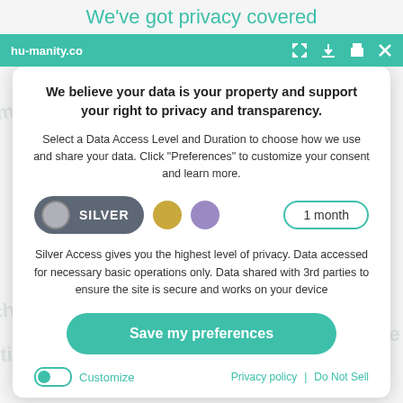We've got privacy covered
hu-manity.co
We believe your data is your property and support your right to privacy and transparency.
Select a Data Access Level and Duration to choose how we use and share your data. Click "Preferences" to customize your consent and learn more.
[Figure (infographic): Privacy level selector showing SILVER pill toggle, gold dot, purple dot, and '1 month' duration selector]
Silver Access gives you the highest level of privacy. Data accessed for necessary basic operations only. Data shared with 3rd parties to ensure the site is secure and works on your device
Save my preferences
Customize   Privacy policy  |  Do Not Sell